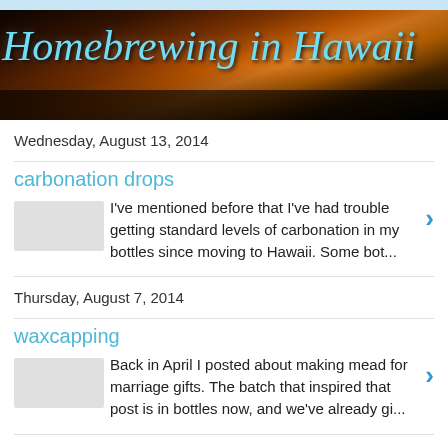[Figure (photo): Banner image showing a Hawaiian sunset over water with silhouetted trees, with the blog title 'Homebrewing in Hawaii' overlaid in cyan italic script]
Wednesday, August 13, 2014
carbonation drops
I've mentioned before that I've had trouble getting standard levels of carbonation in my bottles since moving to Hawaii. Some bot...
Thursday, August 7, 2014
waxcapping
Back in April I posted about making mead for marriage gifts. The batch that inspired that post is in bottles now, and we've already gi...
Tuesday, August 5, 2014
A book to drink beer to
Just a quick post to help spread the word about